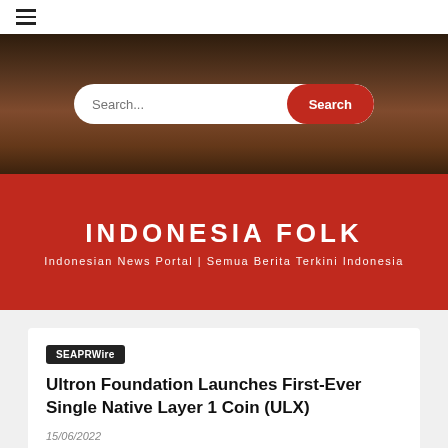☰ (hamburger menu)
[Figure (screenshot): Website header with search bar over a dark city street background photo]
INDONESIA FOLK
Indonesian News Portal | Semua Berita Terkini Indonesia
SEAPRWire
Ultron Foundation Launches First-Ever Single Native Layer 1 Coin (ULX)
15/06/2022